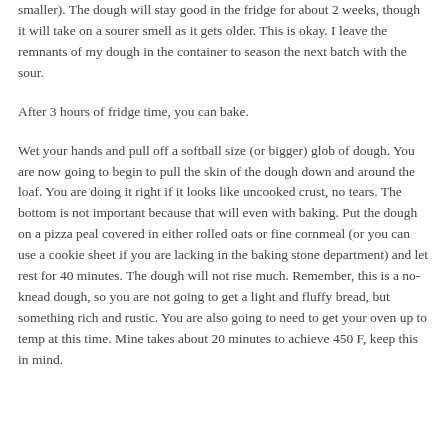smaller). The dough will stay good in the fridge for about 2 weeks, though it will take on a sourer smell as it gets older. This is okay. I leave the remnants of my dough in the container to season the next batch with the sour.
After 3 hours of fridge time, you can bake.
Wet your hands and pull off a softball size (or bigger) glob of dough. You are now going to begin to pull the skin of the dough down and around the loaf. You are doing it right if it looks like uncooked crust, no tears. The bottom is not important because that will even with baking. Put the dough on a pizza peal covered in either rolled oats or fine cornmeal (or you can use a cookie sheet if you are lacking in the baking stone department) and let rest for 40 minutes. The dough will not rise much. Remember, this is a no-knead dough, so you are not going to get a light and fluffy bread, but something rich and rustic. You are also going to need to get your oven up to temp at this time. Mine takes about 20 minutes to achieve 450 F, keep this in mind.